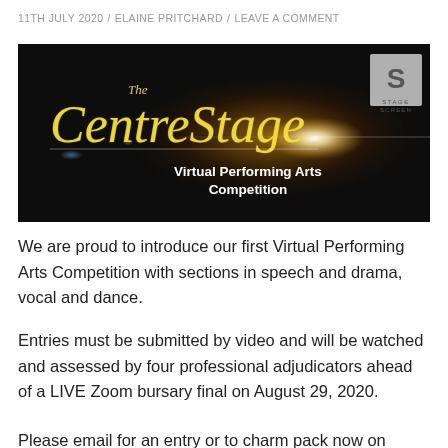11TH JULY 2020 / ELAINE PRITCHARD / LEAVE A COMMENT
[Figure (illustration): The CentreStage Virtual Performing Arts Competition banner — dark background with neon golden cursive text reading 'The CentreStage' and bold white text 'Virtual Performing Arts Competition', with a Stage Screen logo in the top right corner.]
We are proud to introduce our first Virtual Performing Arts Competition with sections in speech and drama, vocal and dance.
Entries must be submitted by video and will be watched and assessed by four professional adjudicators ahead of a LIVE Zoom bursary final on August 29, 2020.
Please email for an entry or to charm pack now on